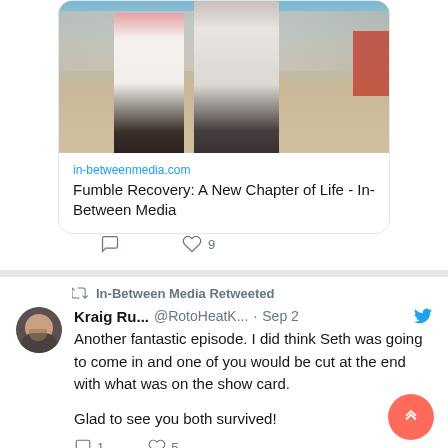[Figure (screenshot): Photo of two women outdoors in a city setting, used as link preview image for in-betweenmedia.com article]
in-betweenmedia.com
Fumble Recovery: A New Chapter of Life - In-Between Media
9
In-Between Media Retweeted
Kraig Ru...  @RotoHeatK...  · Sep 2
Another fantastic episode. I did think Seth was going to come in and one of you would be cut at the end with what was on the show card.

Glad to see you both survived!
1
5